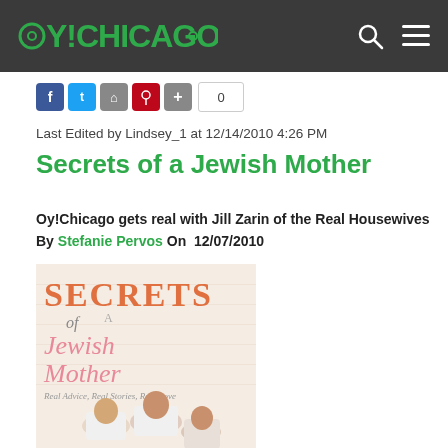OY!CHICAGO
0
Last Edited by Lindsey_1 at 12/14/2010 4:26 PM
Secrets of a Jewish Mother
Oy!Chicago gets real with Jill Zarin of the Real Housewives
By Stefanie Pervos On 12/07/2010
[Figure (photo): Book cover of 'Secrets of a Jewish Mother: Real Advice, Real Stories, Real Love' with three women in white]